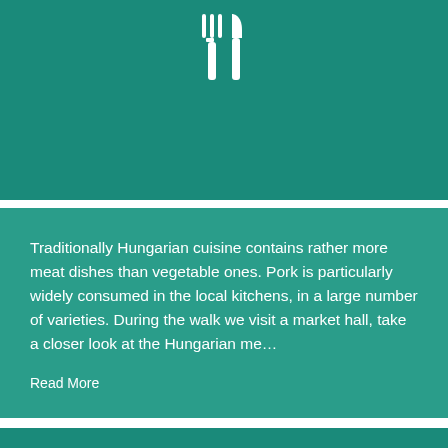[Figure (illustration): White fork and knife icon on teal/dark green background at top of page]
Traditionally Hungarian cuisine contains rather more meat dishes than vegetable ones. Pork is particularly widely consumed in the local kitchens, in a large number of varieties. During the walk we visit a market hall, take a closer look at the Hungarian me…
Read More
[Figure (illustration): Partial white icon (appears to be a person or thumbs up) on teal background at bottom of page]